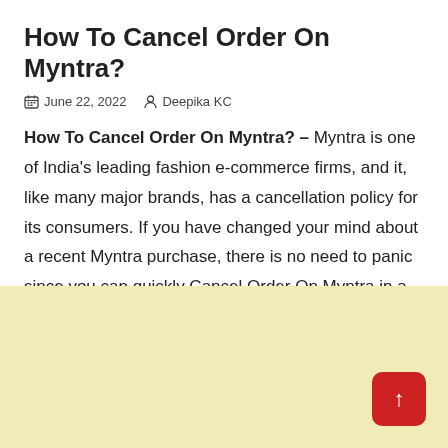How To Cancel Order On Myntra?
June 22, 2022   Deepika KC
How To Cancel Order On Myntra? – Myntra is one of India's leading fashion e-commerce firms, and it, like many major brands, has a cancellation policy for its consumers. If you have changed your mind about a recent Myntra purchase, there is no need to panic since you can quickly Cancel Order On Myntra in a few easy steps.
[Figure (other): Yellow/cream colored advertisement or content block area at the bottom of the page, with a red scroll-to-top button in the bottom right corner]